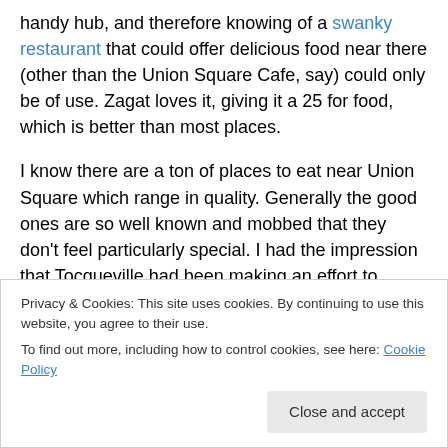handy hub, and therefore knowing of a swanky restaurant that could offer delicious food near there (other than the Union Square Cafe, say) could only be of use. Zagat loves it, giving it a 25 for food, which is better than most places.
I know there are a ton of places to eat near Union Square which range in quality. Generally the good ones are so well known and mobbed that they don't feel particularly special. I had the impression that Tocqueville had been making an effort to separate itself from the crowd in the way Gramercy Tavern, Dovetail, Ouest, DBGB and Daniel
Privacy & Cookies: This site uses cookies. By continuing to use this website, you agree to their use.
To find out more, including how to control cookies, see here: Cookie Policy